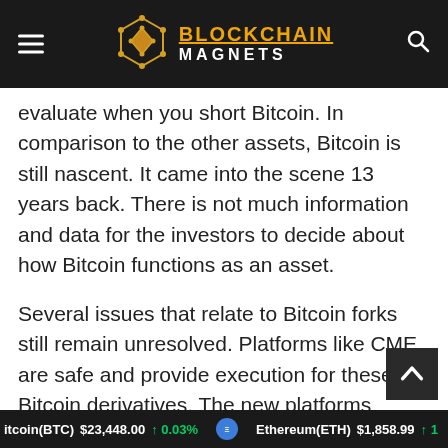BLOCKCHAIN MAGNETS
evaluate when you short Bitcoin. In comparison to the other assets, Bitcoin is still nascent. It came into the scene 13 years back. There is not much information and data for the investors to decide about how Bitcoin functions as an asset.
Several issues that relate to Bitcoin forks still remain unresolved. Platforms like CME are safe and provide execution for these Bitcoin derivatives. The new platforms remain prone to hacking.
Bitcoin(BTC) $23,448.00 ↑ 0.03% | Ethereum(ETH) $1,858.99 ↑